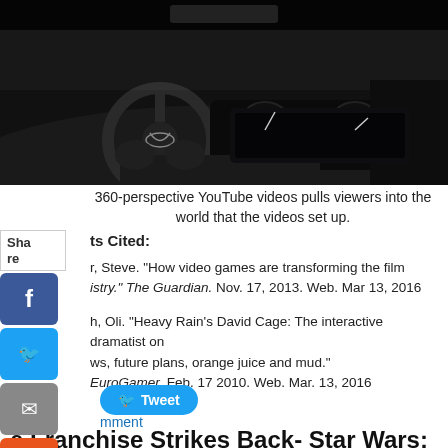[Figure (photo): Car interior dashboard view from driver perspective, black and white photo showing steering wheel with Infiniti logo and dashboard controls]
360-perspective YouTube videos pulls viewers into the world that the videos set up.
Works Cited:
r, Steve. "How video games are transforming the film istry." The Guardian. Nov. 17, 2013. Web. Mar 13, 2016
h, Oli. "Heavy Rain's David Cage: The interactive dramatist on ws, future plans, orange juice and mud." EuroGamer. Feb. 17 2010. Web. Mar. 13, 2016
Tweet
mment
e Franchise Strikes Back- Star Wars: The Force Awakens Review